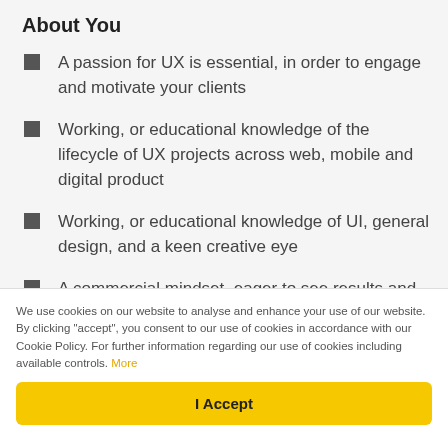About You
A passion for UX is essential, in order to engage and motivate your clients
Working, or educational knowledge of the lifecycle of UX projects across web, mobile and digital product
Working, or educational knowledge of UI, general design, and a keen creative eye
A commercial mindset, eager to see results and test and learn
You can't help but energise people around you
We use cookies on our website to analyse and enhance your use of our website. By clicking "accept", you consent to our use of cookies in accordance with our Cookie Policy. For further information regarding our use of cookies including available controls. More
I Accept